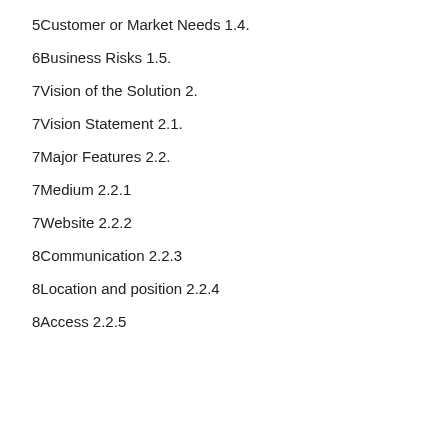5Customer or Market Needs 1.4.
6Business Risks 1.5.
7Vision of the Solution 2.
7Vision Statement 2.1.
7Major Features 2.2.
7Medium 2.2.1
7Website 2.2.2
8Communication 2.2.3
8Location and position 2.2.4
8Access 2.2.5